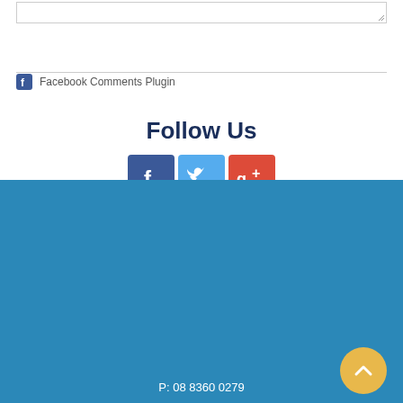[Figure (screenshot): Textarea stub at top of page with resize handle in bottom-right corner]
Facebook Comments Plugin
Follow Us
[Figure (illustration): Social media icons: Facebook (dark blue), Twitter (light blue), Google+ (red/orange)]
P: 08 8360 0279
E: enquiries@assuredpropertygroup.com.au
Assured Property Group RLA 282 033
ACN 619 732 277
© 2021 Assured Property Group Pty Ltd
Privacy Policy | Contact Us
[Figure (logo): Assured Property Invest logo — white stylized 'a' with circular swoosh above text 'assured property invest']